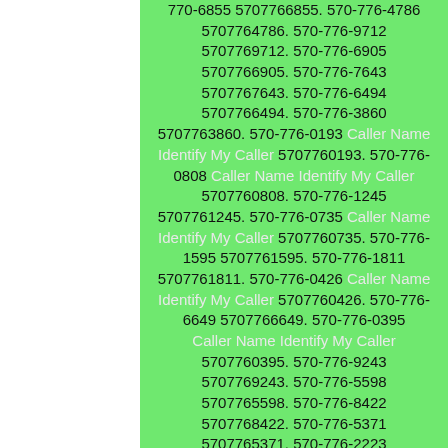770-6855 5707766855. 570-776-4786 5707764786. 570-776-9712 5707769712. 570-776-6905 5707766905. 570-776-7643 5707767643. 570-776-6494 5707766494. 570-776-3860 5707763860. 570-776-0193 Caller Name Identify My Caller 5707760193. 570-776-0808 Caller Name Identify My Caller 5707760808. 570-776-1245 5707761245. 570-776-0735 Caller Name Identify My Caller 5707760735. 570-776-1595 5707761595. 570-776-1811 5707761811. 570-776-0426 Caller Name Identify My Caller 5707760426. 570-776-6649 5707766649. 570-776-0395 Caller Name Identify My Caller 5707760395. 570-776-9243 5707769243. 570-776-5598 5707765598. 570-776-8422 5707768422. 570-776-5371 5707765371. 570-776-2223 5707762223. 570-776-8688 5707768688. 570-776-2964 5707762964. 570-776-6349 5707766349. 570-776-4829